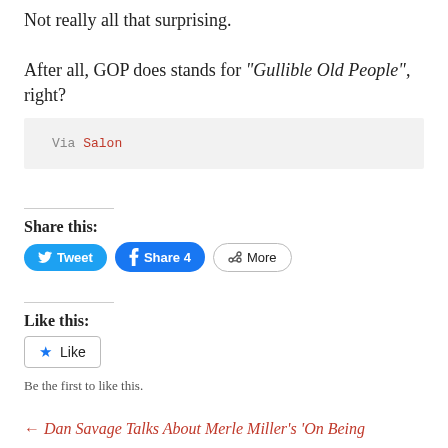Not really all that surprising.
After all, GOP does stands for “Gullible Old People”, right?
Via Salon
Share this:
Tweet   Share 4   More
Like this:
Like
Be the first to like this.
← Dan Savage Talks About Merle Miller’s ‘On Being